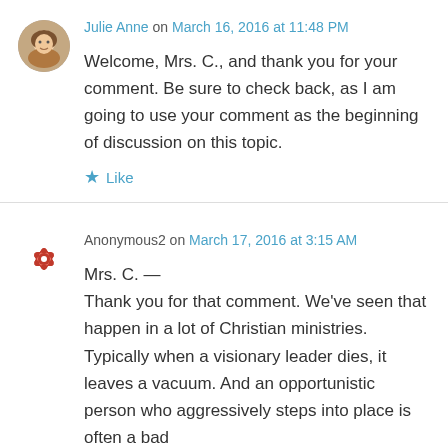Julie Anne on March 16, 2016 at 11:48 PM
Welcome, Mrs. C., and thank you for your comment. Be sure to check back, as I am going to use your comment as the beginning of discussion on this topic.
Like
Anonymous2 on March 17, 2016 at 3:15 AM
Mrs. C. —
Thank you for that comment. We've seen that happen in a lot of Christian ministries. Typically when a visionary leader dies, it leaves a vacuum. And an opportunistic person who aggressively steps into place is often a bad